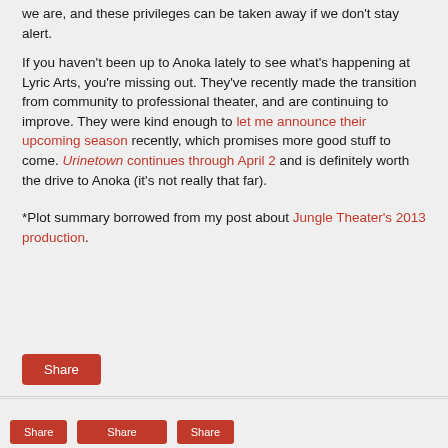we are, and these privileges can be taken away if we don't stay alert.
If you haven't been up to Anoka lately to see what's happening at Lyric Arts, you're missing out. They've recently made the transition from community to professional theater, and are continuing to improve. They were kind enough to let me announce their upcoming season recently, which promises more good stuff to come. Urinetown continues through April 2 and is definitely worth the drive to Anoka (it's not really that far).
*Plot summary borrowed from my post about Jungle Theater's 2013 production.